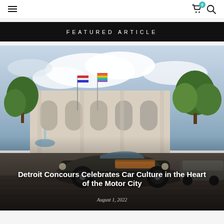☰  🛒 0 🔍
FEATURED ARTICLE
[Figure (photo): A vintage black and brown open-top classic car parked in front of a large neoclassical building with arched windows and fountains. Green trees and an American flag are visible in the background under a partly cloudy sky.]
Detroit Concours Celebrates Car Culture in the Heart of the Motor City
August 1, 2022